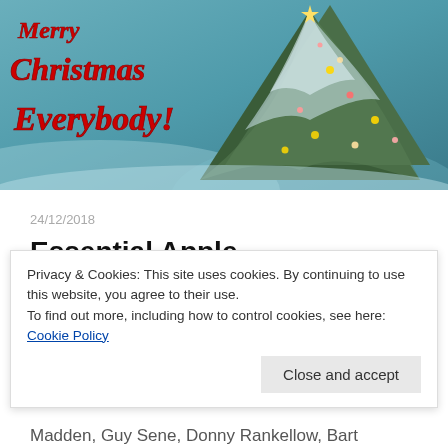[Figure (illustration): Christmas-themed hero image with snowy pine tree with lights on the right side and red cursive text on the left reading 'Merry Christmas Everybody!' on a blue wintry background.]
24/12/2018
Essential Apple Podcast 117: Merry
Privacy & Cookies: This site uses cookies. By continuing to use this website, you agree to their use.
To find out more, including how to control cookies, see here: Cookie Policy
Close and accept
Madden, Guy Sene, Donny Rankellow, Bart